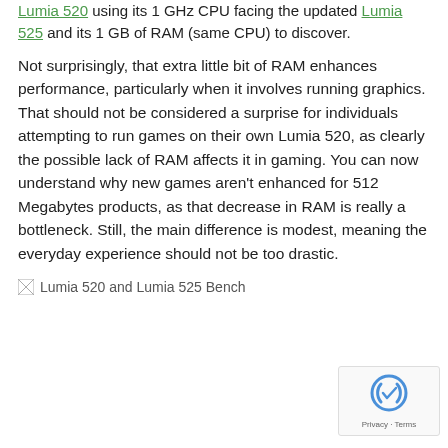Lumia 520 using its 1 GHz CPU facing the updated Lumia 525 and its 1 GB of RAM (same CPU) to discover.
Not surprisingly, that extra little bit of RAM enhances performance, particularly when it involves running graphics. That should not be considered a surprise for individuals attempting to run games on their own Lumia 520, as clearly the possible lack of RAM affects it in gaming. You can now understand why new games aren't enhanced for 512 Megabytes products, as that decrease in RAM is really a bottleneck. Still, the main difference is modest, meaning the everyday experience should not be too drastic.
[Figure (other): Placeholder image for Lumia 520 and Lumia 525 Bench benchmark image]